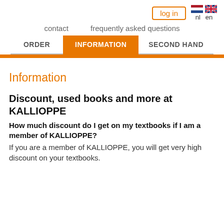log in  nl  en
contact  frequently asked questions
ORDER  INFORMATION  SECOND HAND
Information
Discount, used books and more at KALLIOPPE
How much discount do I get on my textbooks if I am a member of KALLIOPPE?
If you are a member of KALLIOPPE, you will get very high discount on your textbooks.